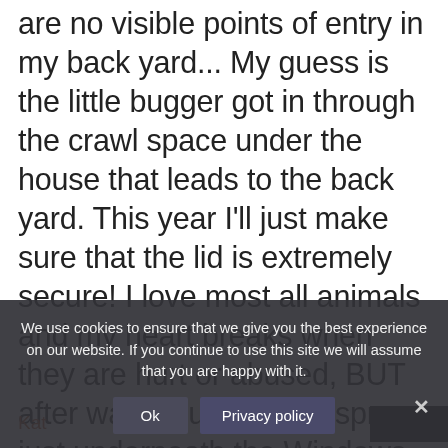are no visible points of entry in my back yard... My guess is the little bugger got in through the crawl space under the house that leads to the back yard. This year I'll just make sure that the lid is extremely secure! I love most all animals and my heart breaks when they are hurt or abused, BUT after waking up to a full spray just underneath the Windows swamp cooler to my bedroom has me whistling a different toon! Anyhow, good luck to any and all of you who have pets that might get sprayed and come runnin in the doggie door sneezing and choking at 4am and jump on your bed like mine did =P
We use cookies to ensure that we give you the best experience on our website. If you continue to use this site we will assume that you are happy with it.
Kat